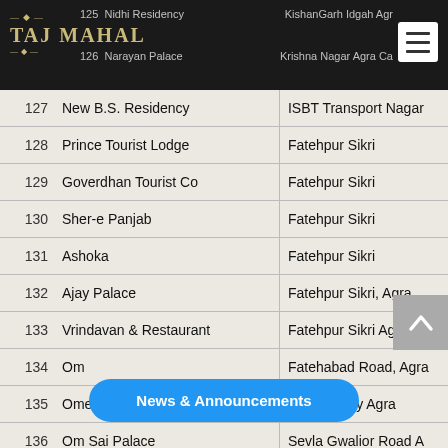[Figure (screenshot): Taj Mahal app header with logo and hamburger menu, showing partial rows 125 Nidhi Residency KishanGarh Idgah Agr and 126 Narayan Palace Krishna Nagar Agra Ca]
| 127 | New B.S. Residency | ISBT Transport Nagar |
| 128 | Prince Tourist Lodge | Fatehpur Sikri |
| 129 | Goverdhan Tourist Co | Fatehpur Sikri |
| 130 | Sher-e Panjab | Fatehpur Sikri |
| 131 | Ashoka | Fatehpur Sikri |
| 132 | Ajay Palace | Fatehpur Sikri, Agra |
| 133 | Vrindavan & Restaurant | Fatehpur Sikri Agra |
| 134 | Om | Fatehabad Road, Agra |
| 135 | Omega | PNT Colony Agra |
| 136 | Om Sai Palace | Sevla Gwalior Road A |
| 137 | Pratap chand jain Dharamshala | Raja Mandi |
| 138 | Prabhat |  |
| 139 | Pratap | Purani Mandi Chaurah |
News & Announcements